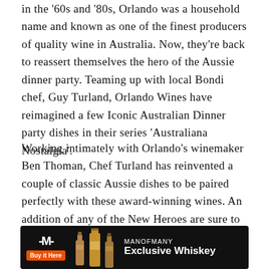in the '60s and '80s, Orlando was a household name and known as one of the finest producers of quality wine in Australia. Now, they're back to reassert themselves the hero of the Aussie dinner party. Teaming up with local Bondi chef, Guy Turland, Orlando Wines have reimagined a few Iconic Australian Dinner party dishes in their series 'Australiana Nostalgia'.
Working intimately with Orlando's winemaker Ben Thoman, Chef Turland has reinvented a couple of classic Aussie dishes to be paired perfectly with these award-winning wines. An addition of any of the New Heroes are sure to add a touch of class to any dinner party even if your guests are still sitting on milk crates.
For entree, indulge in a mushroom vol au vent – that's French for pastry with a hat – to be paired with an exquisite... day.
[Figure (other): Advertisement banner: Man of Many Exclusive Whiskey ad with dark background, M logo, Buy It Here orange button, whiskey bottle images, and bold white text 'Exclusive Whiskey']